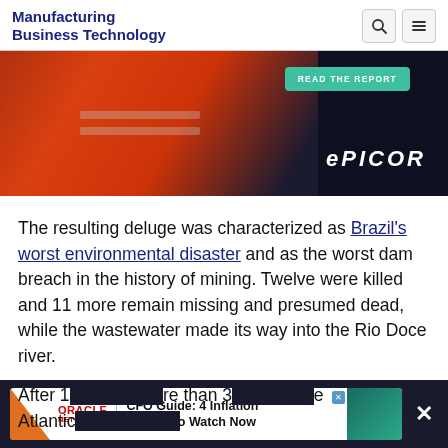Manufacturing Business Technology
[Figure (photo): Advertisement banner showing a person in an orange high-visibility jacket with EPICOR branding and a 'READ THE REPORT' button on a dark background.]
The resulting deluge was characterized as Brazil's worst environmental disaster and as the worst dam breach in the history of mining. Twelve were killed and 11 more remain missing and presumed dead, while the wastewater made its way into the Rio Doce river.
After 1[...] re than 3[...] e Atlantic[...]
[Figure (screenshot): Oracle NetSuite advertisement banner: 'CFO Guide: 4 Inflation Metrics to Watch Now' with teal accent and close button.]